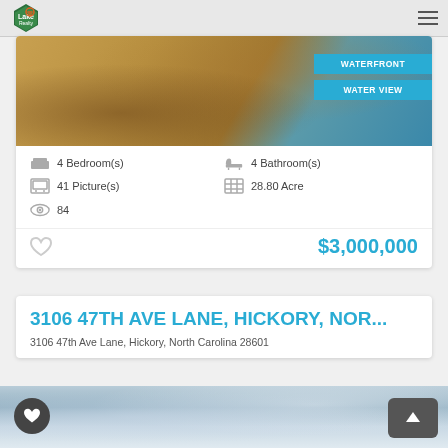Lake Realty / website header with hamburger menu
[Figure (photo): Aerial or landscape property photo showing sandy/dirt terrain with water body visible, overlaid with WATERFRONT and WATER VIEW labels]
4 Bedroom(s)
4 Bathroom(s)
41 Picture(s)
28.80 Acre
84
$3,000,000
3106 47TH AVE LANE, HICKORY, NOR...
3106 47th Ave Lane, Hickory, North Carolina 28601
[Figure (photo): Partial view of property photo showing cloudy sky]